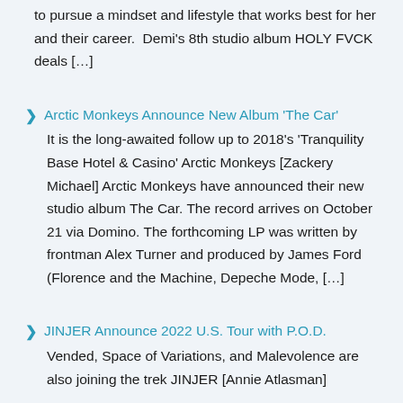to pursue a mindset and lifestyle that works best for her and their career.  Demi's 8th studio album HOLY FVCK deals […]
Arctic Monkeys Announce New Album 'The Car'
It is the long-awaited follow up to 2018's 'Tranquility Base Hotel & Casino' Arctic Monkeys [Zackery Michael] Arctic Monkeys have announced their new studio album The Car. The record arrives on October 21 via Domino. The forthcoming LP was written by frontman Alex Turner and produced by James Ford (Florence and the Machine, Depeche Mode, […]
JINJER Announce 2022 U.S. Tour with P.O.D.
Vended, Space of Variations, and Malevolence are also joining the trek JINJER [Annie Atlasman]